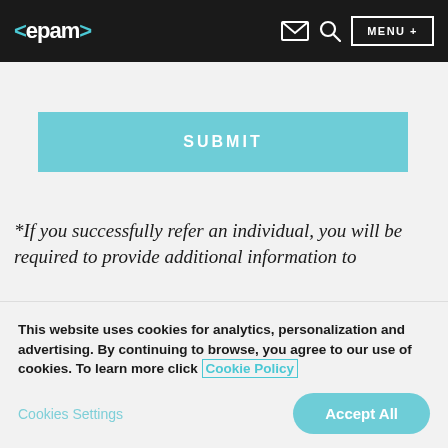<epam> [envelope icon] [search icon] MENU +
SUBMIT
*If you successfully refer an individual, you will be required to provide additional information to
This website uses cookies for analytics, personalization and advertising. By continuing to browse, you agree to our use of cookies. To learn more click Cookie Policy
Cookies Settings  Accept All